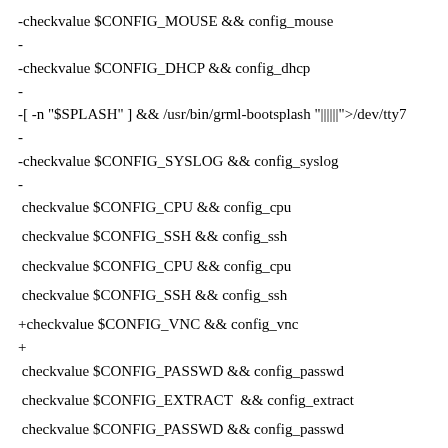-checkvalue $CONFIG_MOUSE && config_mouse
-
-checkvalue $CONFIG_DHCP && config_dhcp
-
-[ -n "$SPLASH" ] && /usr/bin/grml-bootsplash "||||||">/dev/tty7
-
-checkvalue $CONFIG_SYSLOG && config_syslog
-
 checkvalue $CONFIG_CPU && config_cpu

 checkvalue $CONFIG_SSH && config_ssh

 checkvalue $CONFIG_CPU && config_cpu

 checkvalue $CONFIG_SSH && config_ssh

+checkvalue $CONFIG_VNC && config_vnc
+
 checkvalue $CONFIG_PASSWD && config_passwd

 checkvalue $CONFIG_EXTRACT  && config_extract

 checkvalue $CONFIG_PASSWD && config_passwd